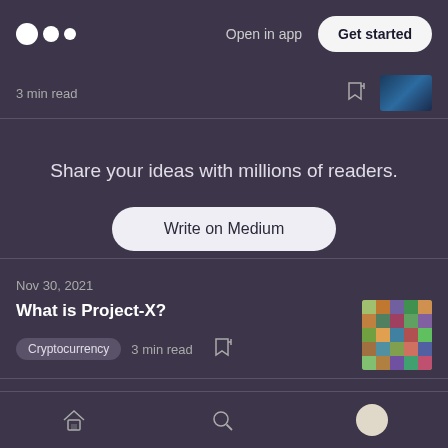Open in app  Get started
3 min read
Share your ideas with millions of readers.
Write on Medium
Nov 30, 2021
What is Project-X?
Cryptocurrency  3 min read
Love podcasts or audiobooks? Learn on the go with our
Home  Search  Profile